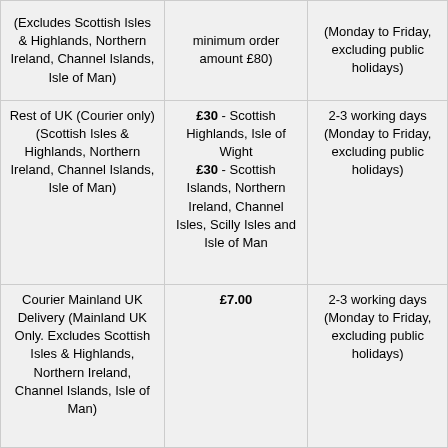| (Excludes Scottish Isles & Highlands, Northern Ireland, Channel Islands, Isle of Man) | minimum order amount £80) | (Monday to Friday, excluding public holidays) |
| Rest of UK (Courier only) (Scottish Isles & Highlands, Northern Ireland, Channel Islands, Isle of Man) | £30 - Scottish Highlands, Isle of Wight
£30 - Scottish Islands, Northern Ireland, Channel Isles, Scilly Isles and Isle of Man | 2-3 working days (Monday to Friday, excluding public holidays) |
| Courier Mainland UK Delivery (Mainland UK Only. Excludes Scottish Isles & Highlands, Northern Ireland, Channel Islands, Isle of Man) | £7.00 | 2-3 working days (Monday to Friday, excluding public holidays) |